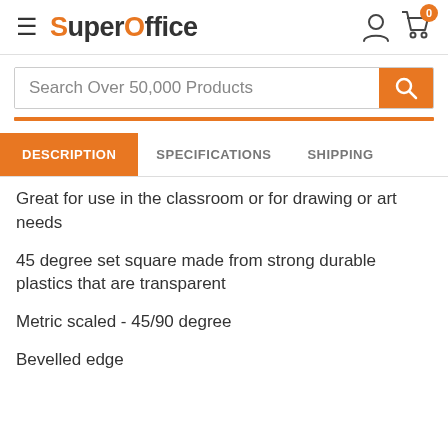SuperOffice
Search Over 50,000 Products
DESCRIPTION | SPECIFICATIONS | SHIPPING
Great for use in the classroom or for drawing or art needs
45 degree set square made from strong durable plastics that are transparent
Metric scaled - 45/90 degree
Bevelled edge